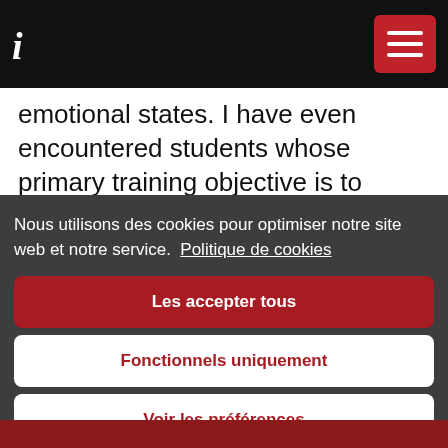i (logo)
emotional states. I have even encountered students whose primary training objective is to
Nous utilisons des cookies pour optimiser notre site web et notre service.  Politique de cookies
Les accepter tous
Fonctionnels uniquement
Voir les préférences